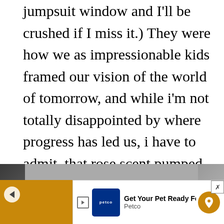jumpsuit window and I'll be crushed if I miss it.) They were how we as impressionable kids framed our vision of the world of tomorrow, and while i'm not totally disappointed by where progress has led us, i have to admit, that rose scent pumped through the AC would be very nice.
YouTube is full of kitchens of the future… so here's one more.
[Figure (photo): A partially visible image strip showing what appears to be a kitchen or technology scene, with navigation arrows on left and right sides.]
[Figure (screenshot): Advertisement banner for Petco: 'Get Your Pet Ready For Summer' with Petco logo and a map pin icon.]